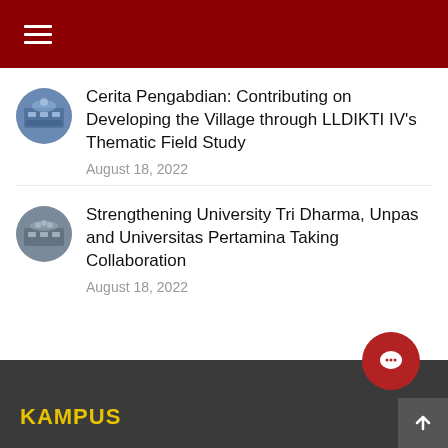Cerita Pengabdian: Contributing on Developing the Village through LLDIKTI IV's Thematic Field Study — August 18, 2022
Strengthening University Tri Dharma, Unpas and Universitas Pertamina Taking Collaboration — August 18, 2022
KAMPUS